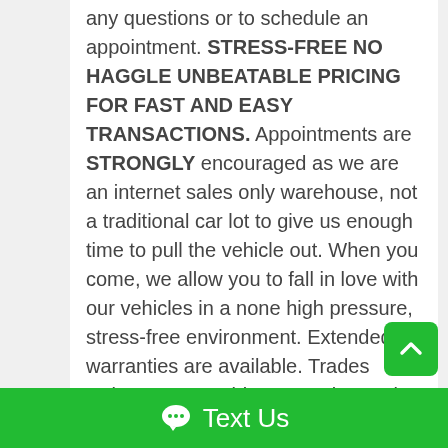any questions or to schedule an appointment. STRESS-FREE NO HAGGLE UNBEATABLE PRICING FOR FAST AND EASY TRANSACTIONS. Appointments are STRONGLY encouraged as we are an internet sales only warehouse, not a traditional car lot to give us enough time to pull the vehicle out. When you come, we allow you to fall in love with our vehicles in a none high pressure, stress-free environment. Extended warranties are available. Trades welcome! Se Habla Espanol. We also offer financing through banks and credit unions for your convenience with rates as low as 2.99% oac. See more great deals at WWW.NETSALESAUTO.COM. We assure our Customers a none high-pressure, worry-free buying experience with Vehicle history reports available showing Clean Titles!
Text Us